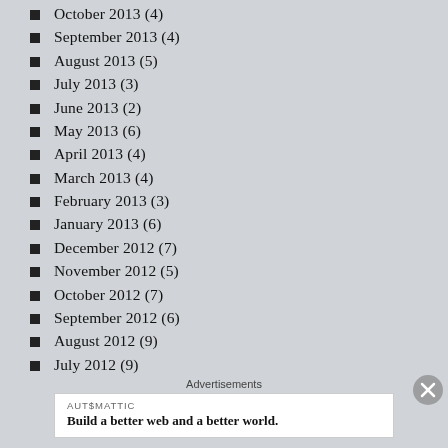October 2013 (4)
September 2013 (4)
August 2013 (5)
July 2013 (3)
June 2013 (2)
May 2013 (6)
April 2013 (4)
March 2013 (4)
February 2013 (3)
January 2013 (6)
December 2012 (7)
November 2012 (5)
October 2012 (7)
September 2012 (6)
August 2012 (9)
July 2012 (9)
June 2012 (3)
June 2011 (2)
Advertisements
[Figure (other): Automattic advertisement: Build a better web and a better world.]